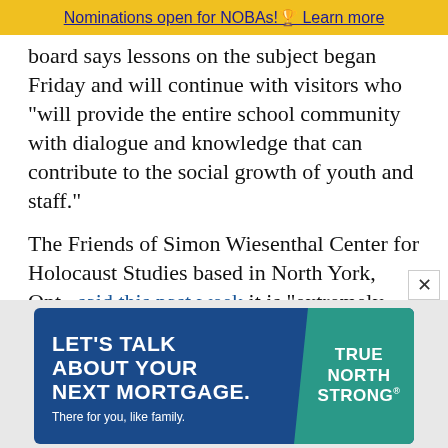Nominations open for NOBAs!🏆 Learn more
board says lessons on the subject began Friday and will continue with visitors who "will provide the entire school community with dialogue and knowledge that can contribute to the social growth of youth and staff."
The Friends of Simon Wiesenthal Center for Holocaust Studies based in North York, Ont., said this past week it is "extremely disturbed," after viewing North Bay students "performing the Nazi salute and yelling antisemitic slurs."
The board adds, "Youth and adult education is key to stopping bullying, antisemitism, racism, and other
[Figure (other): Advertisement banner: 'LET'S TALK ABOUT YOUR NEXT MORTGAGE. There for you, like family.' with TRUE NORTH STRONG branding on teal background, on dark blue background.]